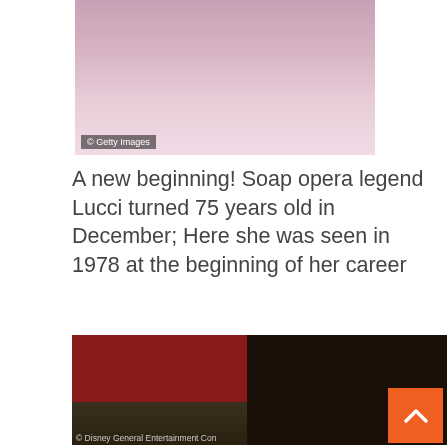[Figure (photo): Top portion of a photo showing a person in a pink/light-colored top, cropped at torso level with a Getty Images watermark]
A new beginning! Soap opera legend Lucci turned 75 years old in December; Here she was seen in 1978 at the beginning of her career
[Figure (photo): A 1978 photo of Susan Lucci (dark hair, red jacket) seated with another woman (blonde, dark jacket) on a sofa, with ornate backdrop. Copyright Disney General Entertainment Con.]